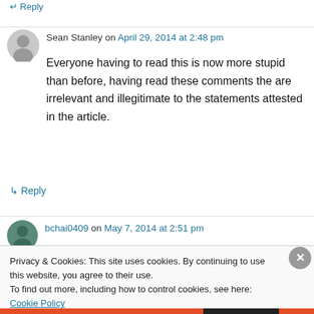↵ Reply
Sean Stanley on April 29, 2014 at 2:48 pm
Everyone having to read this is now more stupid than before, having read these comments the are irrelevant and illegitimate to the statements attested in the article.
↳ Reply
bchai0409 on May 7, 2014 at 2:51 pm
Privacy & Cookies: This site uses cookies. By continuing to use this website, you agree to their use.
To find out more, including how to control cookies, see here: Cookie Policy
Close and accept